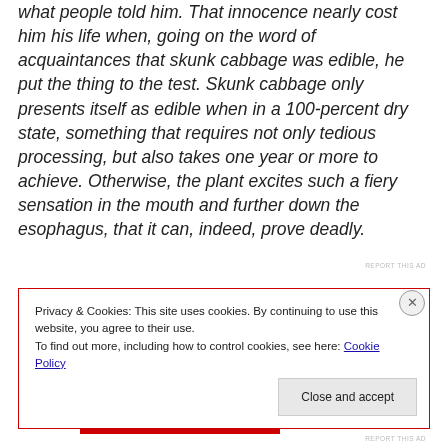what people told him. That innocence nearly cost him his life when, going on the word of acquaintances that skunk cabbage was edible, he put the thing to the test. Skunk cabbage only presents itself as edible when in a 100-percent dry state, something that requires not only tedious processing, but also takes one year or more to achieve. Otherwise, the plant excites such a fiery sensation in the mouth and further down the esophagus, that it can, indeed, prove deadly.
REPORT THIS AD
Privacy & Cookies: This site uses cookies. By continuing to use this website, you agree to their use.
To find out more, including how to control cookies, see here: Cookie Policy
Close and accept